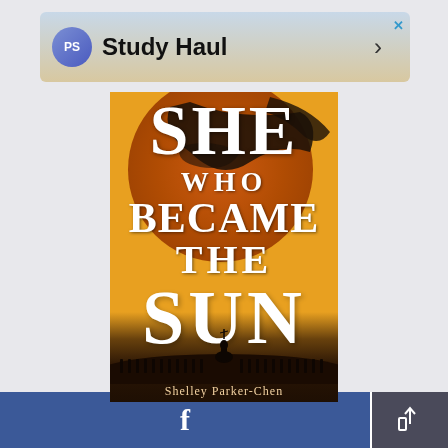[Figure (screenshot): Study Haul advertisement banner with PS logo icon, text 'Study Haul' and a right arrow, with close X button]
[Figure (photo): Book cover of 'She Who Became the Sun' by Shelley Parker-Chan. Orange/yellow background with large dark sun/moon circle with black brush strokes. White serif title text reading SHE / WHO / BECAME / THE / SUN. Bottom shows silhouette of soldier on horseback and army. Author name at bottom.]
[Figure (screenshot): Bottom navigation bar with Facebook share button (blue with f icon) and a generic share button (dark grey with share icon)]